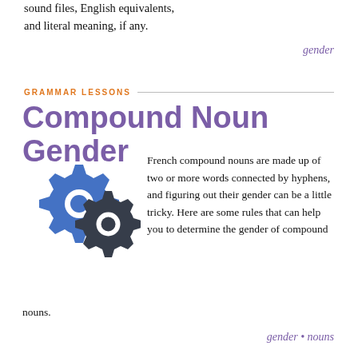sound files, English equivalents, and literal meaning, if any.
gender
GRAMMAR LESSONS
Compound Noun Gender
[Figure (illustration): Two interlocking gear icons, one blue and one dark grey, representing compound nouns]
French compound nouns are made up of two or more words connected by hyphens, and figuring out their gender can be a little tricky. Here are some rules that can help you to determine the gender of compound nouns.
gender • nouns